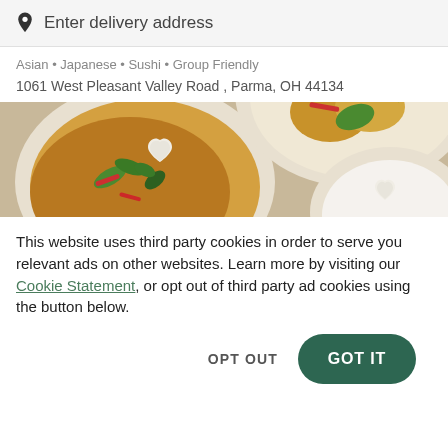Enter delivery address
Asian • Japanese • Sushi • Group Friendly
1061 West Pleasant Valley Road , Parma, OH 44134
[Figure (photo): Overhead view of Asian food dishes with heart-shaped rice, curry with vegetables, green beans, red peppers, and basil leaves on white plates and bowls]
This website uses third party cookies in order to serve you relevant ads on other websites. Learn more by visiting our Cookie Statement, or opt out of third party ad cookies using the button below.
OPT OUT
GOT IT